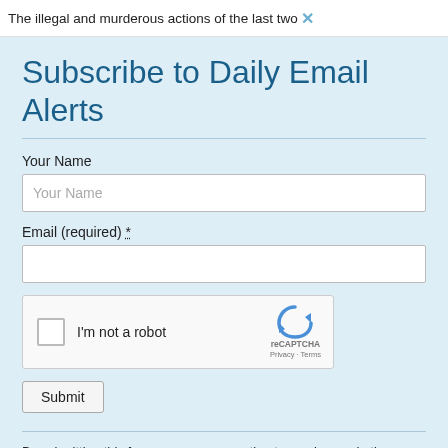The illegal and murderous actions of the last two ×
Subscribe to Daily Email Alerts
Your Name
Email (required) *
[Figure (other): reCAPTCHA widget with checkbox labeled 'I'm not a robot' and reCAPTCHA logo with Privacy and Terms links]
Submit
By submitting this form, you are consenting to receive marketing emails from: News With Views, P.O. Box 990, Spring Branch, TX, 78070-9998,